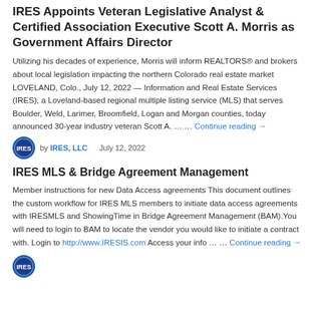IRES Appoints Veteran Legislative Analyst & Certified Association Executive Scott A. Morris as Government Affairs Director
Utilizing his decades of experience, Morris will inform REALTORS® and brokers about local legislation impacting the northern Colorado real estate market LOVELAND, Colo., July 12, 2022 — Information and Real Estate Services (IRES), a Loveland-based regional multiple listing service (MLS) that serves Boulder, Weld, Larimer, Broomfield, Logan and Morgan counties, today announced 30-year industry veteran Scott A. … … Continue reading →
by IRES, LLC    July 12, 2022
IRES MLS & Bridge Agreement Management
Member instructions for new Data Access agreements This document outlines the custom workflow for IRES MLS members to initiate data access agreements with IRESMLS and ShowingTime in Bridge Agreement Management (BAM).You will need to login to BAM to locate the vendor you would like to initiate a contract with. Login to http://www.IRESIS.com Access your info … … Continue reading →